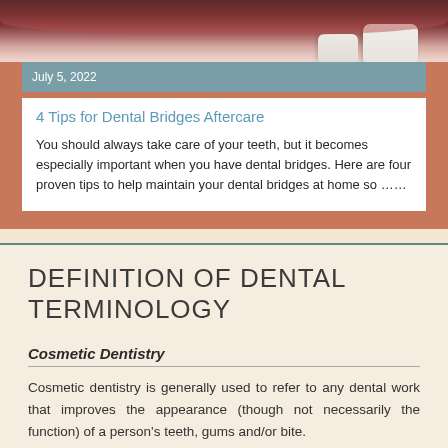[Figure (photo): Close-up dental photo showing teeth with gum tissue, pinkish-red tones with white tooth crowns visible]
July 5, 2022
4 Tips for Dental Bridges Aftercare
You should always take care of your teeth, but it becomes especially important when you have dental bridges. Here are four proven tips to help maintain your dental bridges at home so ……
DEFINITION OF DENTAL TERMINOLOGY
Cosmetic Dentistry
Cosmetic dentistry is generally used to refer to any dental work that improves the appearance (though not necessarily the function) of a person's teeth, gums and/or bite.